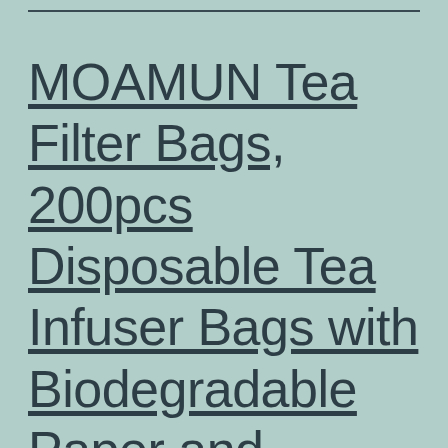MOAMUN Tea Filter Bags, 200pcs Disposable Tea Infuser Bags with Biodegradable Paper and Environmental Food Grade Drawstring for Medicine Package or Soup Package (Big size)